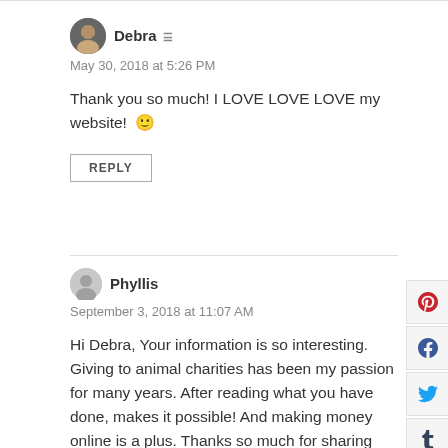Debra [admin icon]
May 30, 2018 at 5:26 PM
Thank you so much! I LOVE LOVE LOVE my website! 🙂
REPLY
Phyllis
September 3, 2018 at 11:07 AM
Hi Debra, Your information is so interesting. Giving to animal charities has been my passion for many years. After reading what you have done, makes it possible! And making money online is a plus. Thanks so much for sharing your information!